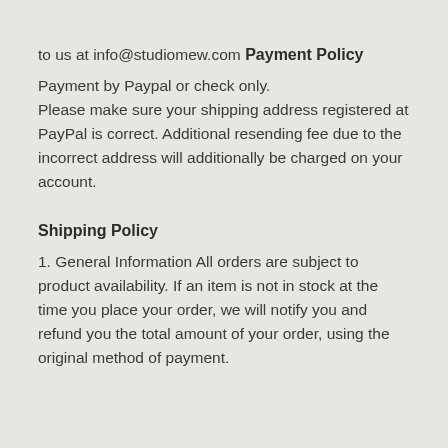to us at info@studiomew.com
Payment Policy
Payment by Paypal or check only.
Please make sure your shipping address registered at PayPal is correct. Additional resending fee due to the incorrect address will additionally be charged on your account.
Shipping Policy
1. General Information All orders are subject to product availability. If an item is not in stock at the time you place your order, we will notify you and refund you the total amount of your order, using the original method of payment.